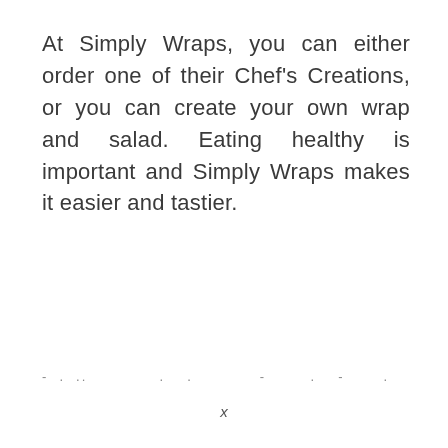At Simply Wraps, you can either order one of their Chef's Creations, or you can create your own wrap and salad. Eating healthy is important and Simply Wraps makes it easier and tastier.
- . .. . . - . . - . - . x